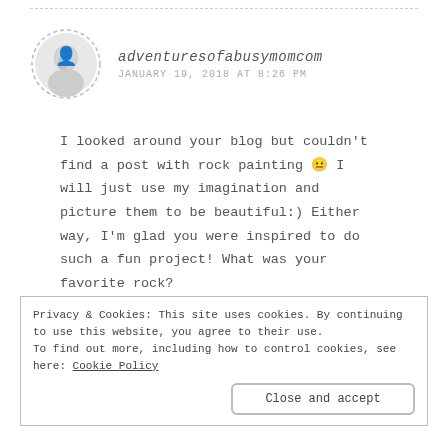[Figure (photo): Circular dashed-border avatar photo of a woman, black and white]
adventuresofabusymomcom
JANUARY 19, 2018 AT 8:26 PM
I looked around your blog but couldn't find a post with rock painting 😐 I will just use my imagination and picture them to be beautiful:) Either way, I'm glad you were inspired to do such a fun project! What was your favorite rock?
Privacy & Cookies: This site uses cookies. By continuing to use this website, you agree to their use. To find out more, including how to control cookies, see here: Cookie Policy
Close and accept